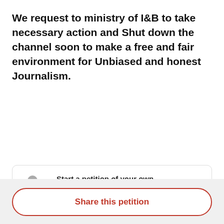We request to ministry of I&B to take necessary action and Shut down the channel soon to make a free and fair environment for Unbiased and honest Journalism.
[Figure (infographic): Rounded card with a pen/edit icon and text: Start a petition of your own. This petition starter stood up and took action. Will you do the same?]
Share this petition